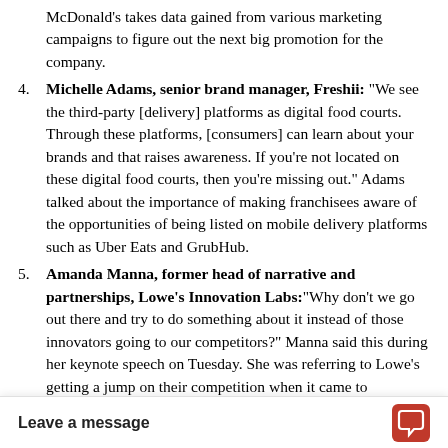McDonald's takes data gained from various marketing campaigns to figure out the next big promotion for the company.
4. Michelle Adams, senior brand manager, Freshii: "We see the third-party [delivery] platforms as digital food courts. Through these platforms, [consumers] can learn about your brands and that raises awareness. If you're not located on these digital food courts, then you're missing out." Adams talked about the importance of making franchisees aware of the opportunities of being listed on mobile delivery platforms such as Uber Eats and GrubHub.
5. Amanda Manna, former head of narrative and partnerships, Lowe's Innovation Labs: "Why don't we go out there and try to do something about it instead of those innovators going to our competitors?" Manna said this during her keynote speech on Tuesday. She was referring to Lowe's getting a jump on their competition when it came to developing what the company viewed as innovative services.
6. Willy Lai, vice president of user experience design, Macy's: "Bring the user into the product development process. If you're going to be designing for user-centered design, wouldn't you actually want to have those users at the center? Wouldn't it be far better to speak to them about so that you can course correct early and often so that you have a better cha...